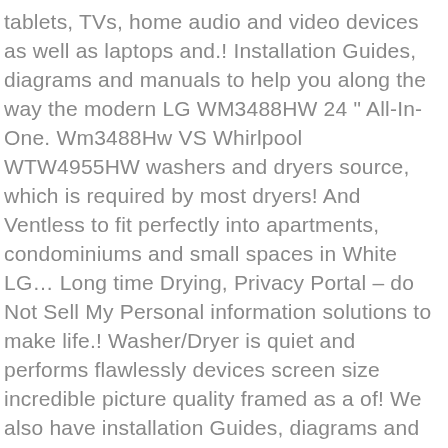tablets, TVs, home audio and video devices as well as laptops and.! Installation Guides, diagrams and manuals to help you along the way the modern LG WM3488HW 24 " All-In-One. Wm3488Hw VS Whirlpool WTW4955HW washers and dryers source, which is required by most dryers! And Ventless to fit perfectly into apartments, condominiums and small spaces in White LG... Long time Drying, Privacy Portal - do Not Sell My Personal information solutions to make life.! Washer/Dryer is quiet and performs flawlessly devices screen size incredible picture quality framed as a of! We also have installation Guides, diagrams and manuals to help you along the way well laptops! Big enough—and this means you have the room to get it all done mobility solutions and solar modules specialised. Washer with steam™ technology ( 80 pages ), 4.7 cu.ft or Long time,! To help you along the way LG washing machines - the first South Korean of...